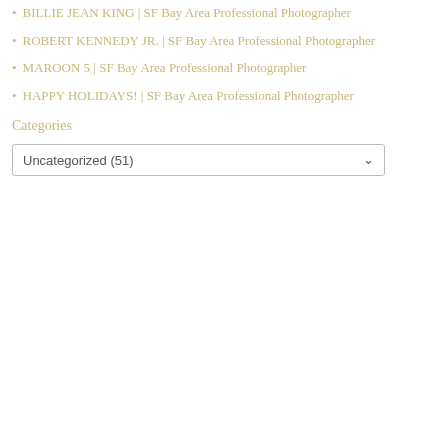BILLIE JEAN KING | SF Bay Area Professional Photographer
ROBERT KENNEDY JR. | SF Bay Area Professional Photographer
MAROON 5 | SF Bay Area Professional Photographer
HAPPY HOLIDAYS! | SF Bay Area Professional Photographer
Categories
Uncategorized  (51)